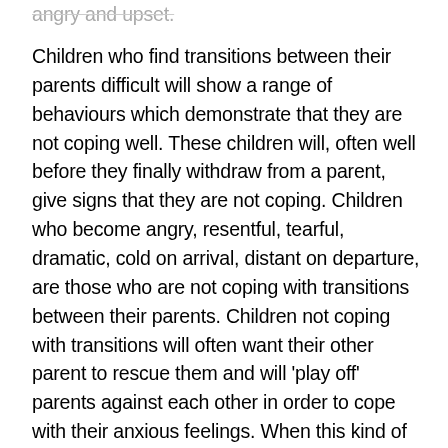angry and upset.
Children who find transitions between their parents difficult will show a range of behaviours which demonstrate that they are not coping well.  These children will, often well before they finally withdraw from a parent, give signs that they are not coping.  Children who become angry, resentful, tearful, dramatic, cold on arrival, distant on departure, are those who are not coping with transitions between their parents.  Children not coping with transitions will often want their other parent to rescue them and will 'play off' parents against each other in order to cope with their anxious feelings.  When this kind of reaction sets in, if you are the parent who perceives rejection, what you do next can be the difference between helping your